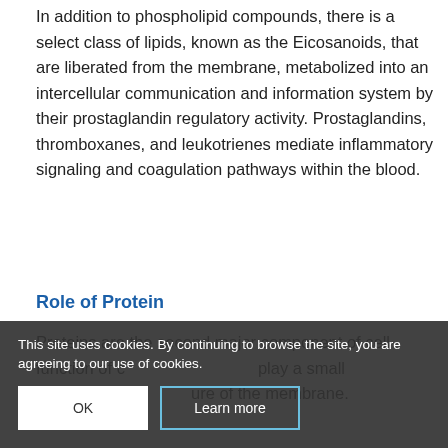In addition to phospholipid compounds, there is a select class of lipids, known as the Eicosanoids, that are liberated from the membrane, metabolized into an intercellular communication and information system by their prostaglandin regulatory activity. Prostaglandins, thromboxanes, and leukotrienes mediate inflammatory signaling and coagulation pathways within the blood.
Role of Protein
Proteins are the second major component of cell function of c... play a small role in formin... ure of the membrane.
This site uses cookies. By continuing to browse the site, you are agreeing to our use of cookies.